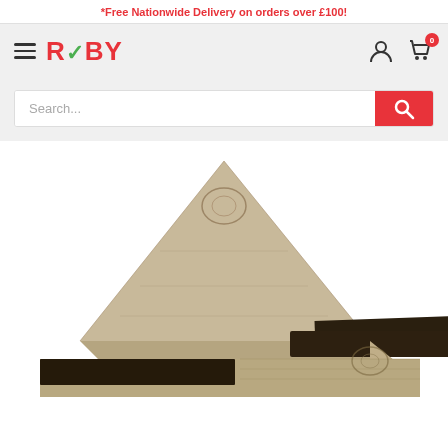*Free Nationwide Delivery on orders over £100!
[Figure (logo): Ruby store logo with hamburger menu, user icon, and cart with 0 badge]
[Figure (screenshot): Search bar with placeholder text 'Search...' and red search button]
[Figure (photo): Product photo of wooden timber boards arranged in a triangular/stepped formation, showing wood grain texture with dark ends]